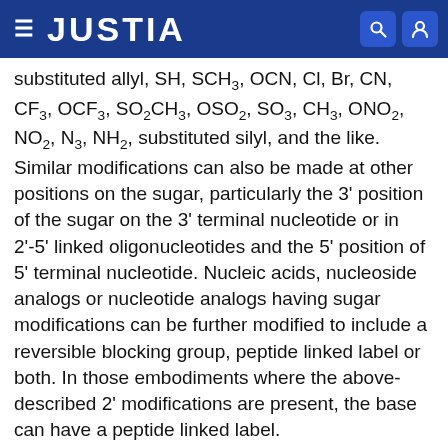JUSTIA
substituted allyl, SH, SCH3, OCN, Cl, Br, CN, CF3, OCF3, SO2CH3, OSO2, SO3, CH3, ONO2, NO2, N3, NH2, substituted silyl, and the like. Similar modifications can also be made at other positions on the sugar, particularly the 3' position of the sugar on the 3' terminal nucleotide or in 2'-5' linked oligonucleotides and the 5' position of 5' terminal nucleotide. Nucleic acids, nucleoside analogs or nucleotide analogs having sugar modifications can be further modified to include a reversible blocking group, peptide linked label or both. In those embodiments where the above-described 2' modifications are present, the base can have a peptide linked label.
A nucleic acid used in the invention can also include native or non-native bases. In this regard a native deoxyribonucleic acid can have one or more bases selected from the group consisting of adenine, thymine...